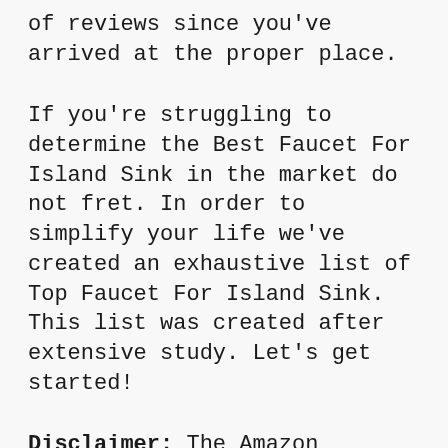of reviews since you've arrived at the proper place.
If you're struggling to determine the Best Faucet For Island Sink in the market do not fret. In order to simplify your life we've created an exhaustive list of Top Faucet For Island Sink. This list was created after extensive study. Let's get started!
Disclaimer: The Amazon Affiliate Product Advertising API is used to fetch products from Amazon. This API includes product content, image and logo as well as brand, design, and feature information. These are trademarks of Amazon.com. We may earn an affiliate